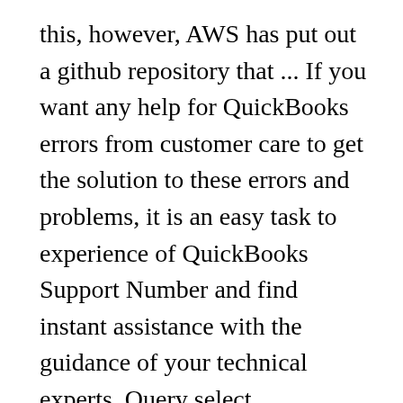this, however, AWS has put out a github repository that ... If you want any help for QuickBooks errors from customer care to get the solution to these errors and problems, it is an easy task to experience of QuickBooks Support Number and find instant assistance with the guidance of your technical experts. Query select table_schema as schema_name, table_name as view_name, view_definition from information_schema.views where table_schema not in ('information_schema', 'pg_catalog') order by schema_name, view_name; Fixed to display the dll filename in the window title when dragging a file from Windows Explorer. Snowflake's support team provided us this script to migrate the DDL to